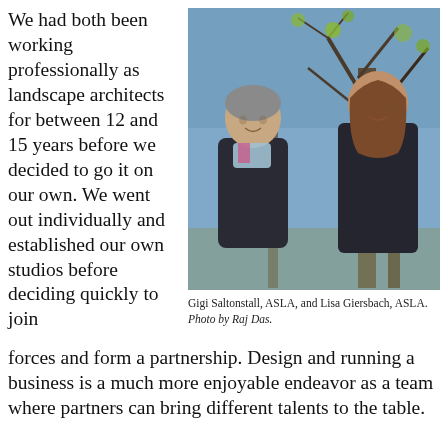We had both been working professionally as landscape architects for between 12 and 15 years before we decided to go it on our own. We went out individually and established our own studios before deciding quickly to join forces and form a partnership. Design and running a business is a much more enjoyable endeavor as a team where partners can bring different talents to the table.
[Figure (photo): Two women (Gigi Saltonstall, ASLA, and Lisa Giersbach, ASLA) standing outdoors among trees with spring foliage, both wearing dark jackets and smiling.]
Gigi Saltonstall, ASLA, and Lisa Giersbach, ASLA. Photo by Raj Das.